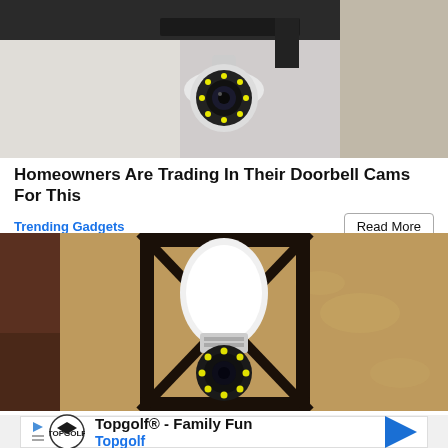[Figure (photo): Security surveillance camera mounted outdoors, white dome camera with LED lights on a bracket against a building exterior]
Homeowners Are Trading In Their Doorbell Cams For This
Trending Gadgets
Read More
[Figure (photo): Smart security light bulb camera installed in an outdoor black metal lantern-style fixture mounted on a textured stucco wall]
Advertisement
Topgolf® - Family Fun Topgolf